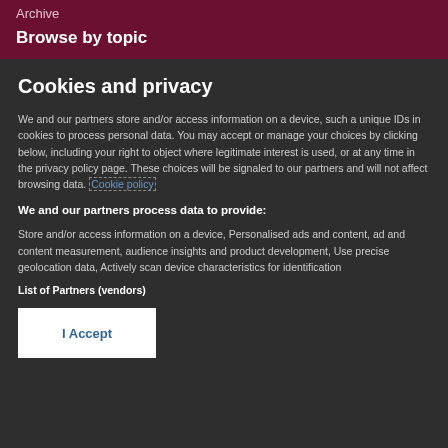Archive
Browse by topic
Cookies and privacy
We and our partners store and/or access information on a device, such a unique IDs in cookies to process personal data. You may accept or manage your choices by clicking below, including your right to object where legitimate interest is used, or at any time in the privacy policy page. These choices will be signaled to our partners and will not affect browsing data. Cookie policy
We and our partners process data to provide:
Store and/or access information on a device, Personalised ads and content, ad and content measurement, audience insights and product development, Use precise geolocation data, Actively scan device characteristics for identification
List of Partners (vendors)
I Accept